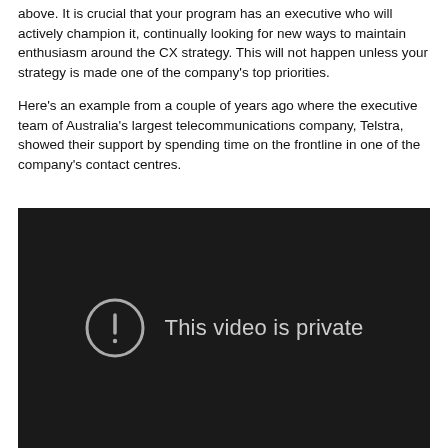above. It is crucial that your program has an executive who will actively champion it, continually looking for new ways to maintain enthusiasm around the CX strategy. This will not happen unless your strategy is made one of the company's top priorities.
Here's an example from a couple of years ago where the executive team of Australia's largest telecommunications company, Telstra, showed their support by spending time on the frontline in one of the company's contact centres.
[Figure (screenshot): Embedded video player showing a dark/black background with a circle exclamation icon and the text 'This video is private' in grey.]